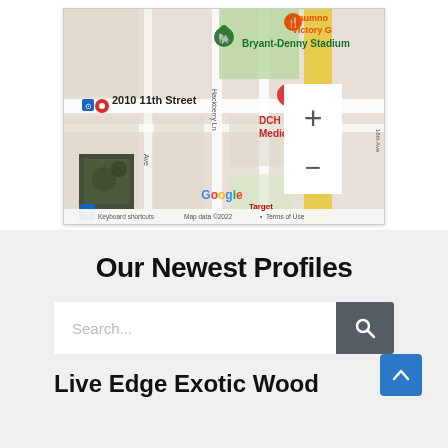[Figure (screenshot): Google Maps screenshot showing area around 2010 11th Street, with Bryant-Denny Stadium, DCH Regional Medical Center, Hackberry Ln, and Google branding with zoom controls and map attribution.]
Our Newest Profiles
[Figure (screenshot): Search bar with placeholder text 'Search...' and a dark gray search button with magnifying glass icon, plus a blue back-to-top button in the bottom right.]
Live Edge Exotic Wood